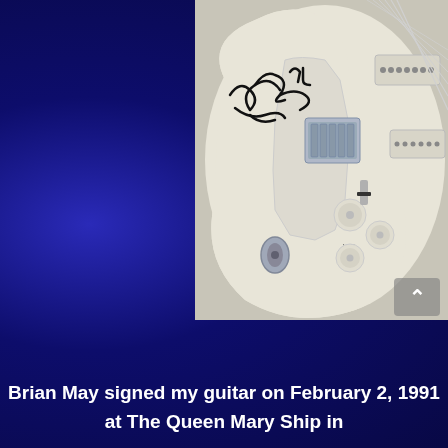[Figure (photo): Close-up photo of a white Fender Stratocaster electric guitar body with an autograph/signature (Brian May) in black marker on the body. The guitar has chrome hardware including a tremolo bridge, three single-coil pickups with white covers, volume and tone knobs, and a white pickguard. The guitar is photographed outdoors on a light surface.]
Brian May signed my guitar on February 2, 1991 at The Queen Mary Ship in